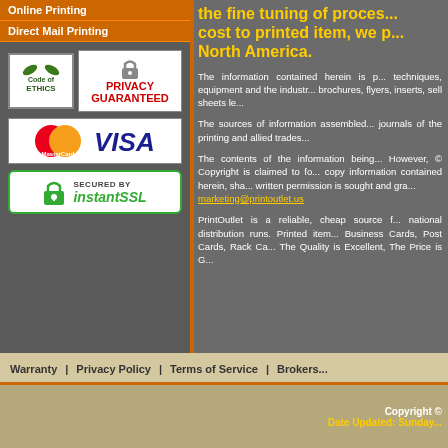Online Printing
Direct Mail Printing
[Figure (logo): Code of Ethics badge, Privacy Guaranteed badge, MasterCard and VISA payment logos, Secured by instantSSL badge]
the fine tuning of proces... cost to printed item, we p... North America.
The information contained herein is p... techniques, equipment and the industr... brochures, flyers, inserts, sell sheets le...
The sources of information assembled... journals of the printing and allied trades...
The contents of the information being... However, © Copyright is claimed to fo... copy information contained herein, sha... written permission is sought and gra... marketing@printoutlet.us
PrintOutlet is a reliable, cheap source f... national distribution runs. Printed item... Business Cards, Post Cards, Rack Ca... The Quality is Excellent, The Price is G...
Warranty | Privacy Policy | Terms of Service | Brokers...
Copyright © Date Updated: Sunday...